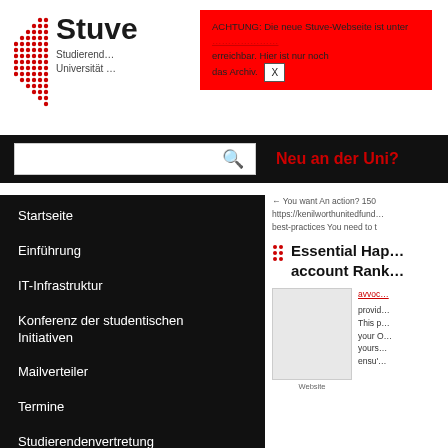[Figure (logo): Stuve university student representation logo with red dot grid pattern and text 'Stuve Studierendenvertretung Universität']
ACHTUNG: Die neue Stuve-Webseite ist unter [link] erreichbar. Hier ist nur noch das Archiv. X
[Figure (screenshot): Search bar with magnifying glass icon on black background, and red text 'Neu an der Uni?' on right]
Startseite
Einführung
IT-Infrastruktur
Konferenz der studentischen Initiativen
Mailverteiler
Termine
Studierendenvertretung
Referate & Arbeitskreise
← You want An action? 150 https://kenilworthunitedfund... best-practices You need to t
Essential Hap... account Rank...
avvoc... provides... This p... your O... yours... ensu'...
Website